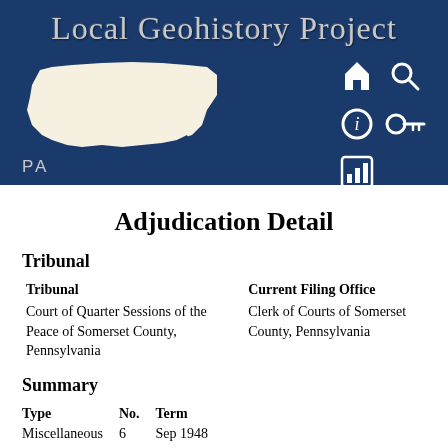[Figure (logo): Local Geohistory Project banner with Pennsylvania state map silhouette, navigation icons (home, search, info, key, bar chart), and 'PA' label on dark blue background]
Adjudication Detail
Tribunal
| Tribunal | Current Filing Office |
| --- | --- |
| Court of Quarter Sessions of the Peace of Somerset County, Pennsylvania | Clerk of Courts of Somerset County, Pennsylvania |
Summary
| Type | No. | Term |
| --- | --- | --- |
| Miscellaneous | 6 | Sep 1948 |
Detail